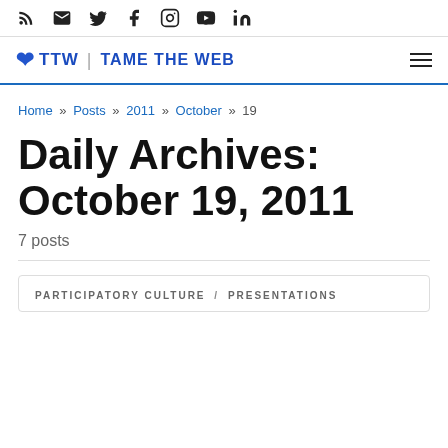Social icons: RSS, Email, Twitter, Facebook, Instagram, YouTube, LinkedIn
TTW | TAME THE WEB
Home » Posts » 2011 » October » 19
Daily Archives: October 19, 2011
7 posts
PARTICIPATORY CULTURE / PRESENTATIONS